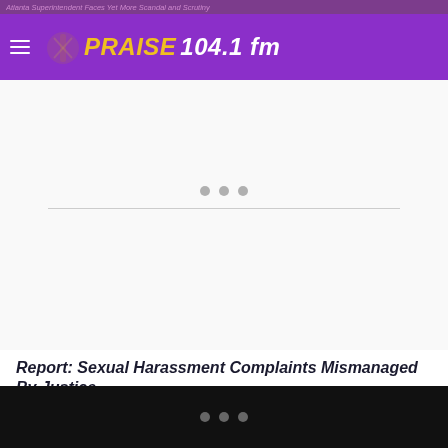Atlanta Superintendent Faces Yet More Scandal and Scrutiny
[Figure (logo): Praise 104.1 fm radio station logo with hamburger menu icon on purple background]
[Figure (other): White content area with three loading dots and horizontal divider line, indicating a loading advertisement or media player]
Report: Sexual Harassment Complaints Mismanaged By Justice